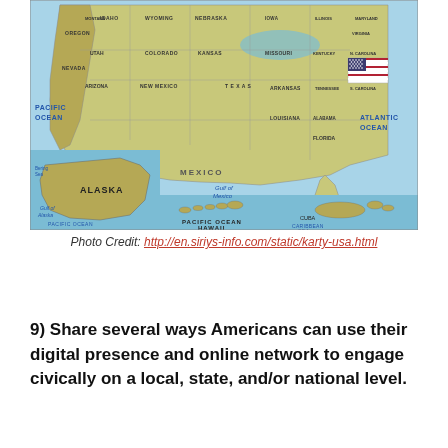[Figure (map): Political/physical map of the United States including insets of Alaska and Hawaii, showing state borders, major geographic features, Pacific Ocean, Atlantic Ocean, Gulf of Mexico, Caribbean Sea, and neighboring countries Mexico and Canada. A small US flag is shown in the upper right of the map.]
Photo Credit: http://en.siriys-info.com/static/karty-usa.html
9) Share several ways Americans can use their digital presence and online network to engage civically on a local, state, and/or national level.